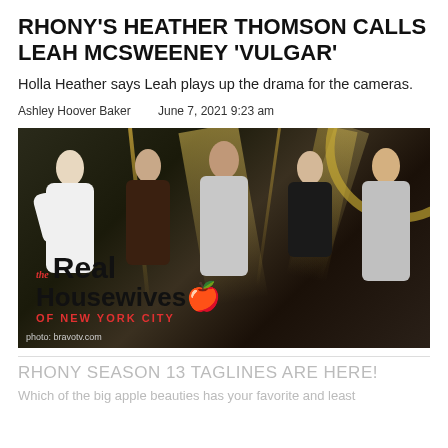RHONY'S HEATHER THOMSON CALLS LEAH MCSWEENEY 'VULGAR'
Holla Heather says Leah plays up the drama for the cameras.
Ashley Hoover Baker    June 7, 2021 9:23 am
[Figure (photo): Promotional photo of The Real Housewives of New York City cast members posing in glamorous outfits against a dark studio background with gold spotlights. The RHONY logo is overlaid at the bottom. Photo credit: bravotv.com]
RHONY SEASON 13 TAGLINES ARE HERE!
Which of the big apple beauties has your favorite and least